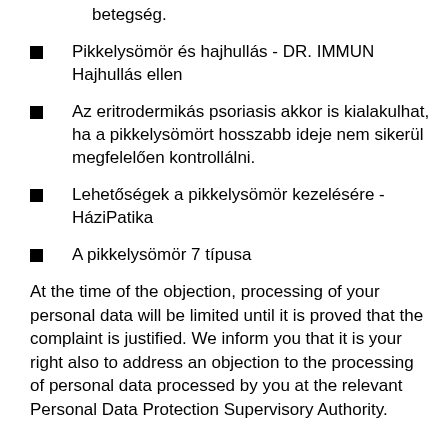betegség.
Pikkelysömör és hajhullás - DR. IMMUN Hajhullás ellen
Az eritrodermikás psoriasis akkor is kialakulhat, ha a pikkelysömört hosszabb ideje nem sikerül megfelelően kontrollálni.
Lehetőségek a pikkelysömör kezelésére - HáziPatika
A pikkelysömör 7 típusa
At the time of the objection, processing of your personal data will be limited until it is proved that the complaint is justified. We inform you that it is your right also to address an objection to the processing of personal data processed by you at the relevant Personal Data Protection Supervisory Authority.